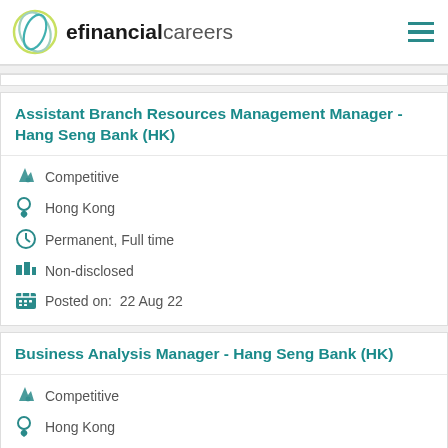efinancialcareers
Assistant Branch Resources Management Manager - Hang Seng Bank (HK)
Competitive
Hong Kong
Permanent, Full time
Non-disclosed
Posted on:  22 Aug 22
Business Analysis Manager - Hang Seng Bank (HK)
Competitive
Hong Kong
Permanent, Full time